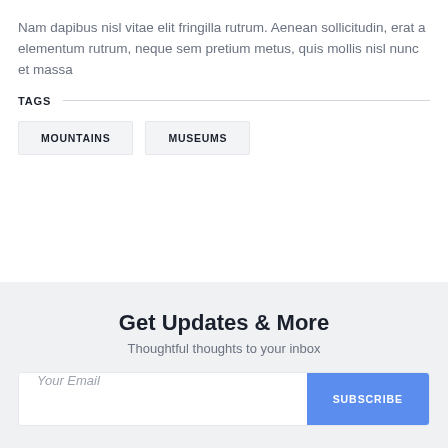Nam dapibus nisl vitae elit fringilla rutrum. Aenean sollicitudin, erat a elementum rutrum, neque sem pretium metus, quis mollis nisl nunc et massa
TAGS
MOUNTAINS
MUSEUMS
Get Updates & More
Thoughtful thoughts to your inbox